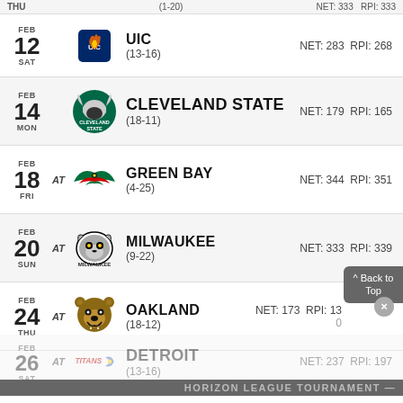| Date | AT | Team | Record | NET | RPI |
| --- | --- | --- | --- | --- | --- |
| FEB 12 SAT |  | UIC | (13-16) | NET: 283 | RPI: 268 |
| FEB 14 MON |  | CLEVELAND STATE | (18-11) | NET: 179 | RPI: 165 |
| FEB 18 FRI | AT | GREEN BAY | (4-25) | NET: 344 | RPI: 351 |
| FEB 20 SUN | AT | MILWAUKEE | (9-22) | NET: 333 | RPI: 339 |
| FEB 24 THU | AT | OAKLAND | (18-12) | NET: 173 | RPI: 130 |
| FEB 26 SAT | AT | DETROIT | (13-16) | NET: 237 | RPI: 197 |
HORIZON LEAGUE TOURNAMENT —
| Date | AT | Team | Record |
| --- | --- | --- | --- |
| MAR 3 |  | UIC |  |